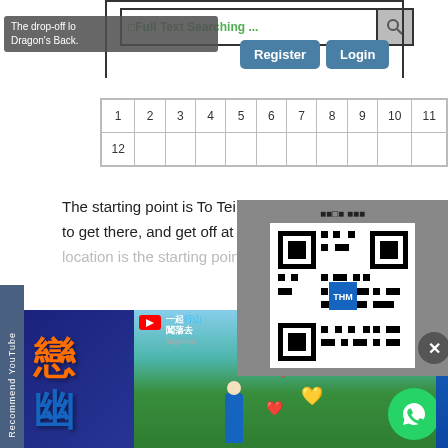[Figure (screenshot): Search bar with green text '□Full Text Searching ...' and search icon button]
The drop-off location is Dragon's Back.
[Figure (screenshot): Register and Login buttons in steel blue]
| 1 | 2 | 3 | 4 | 5 | 6 | 7 | 8 | 9 | 10 | 11 |
| 12 |
The starting point is To Tei Wan, you can... to get there, and get off at To Tei Wan. T... location is the starting point of D...
[Figure (screenshot): QR code popup with Chinese text header and close button]
[Figure (screenshot): YouTube video embed showing hiking scene with TimHiking branding, hot TOP1 badge, and WhatsApp button. Sidebar reads 'Recommend YouTube']